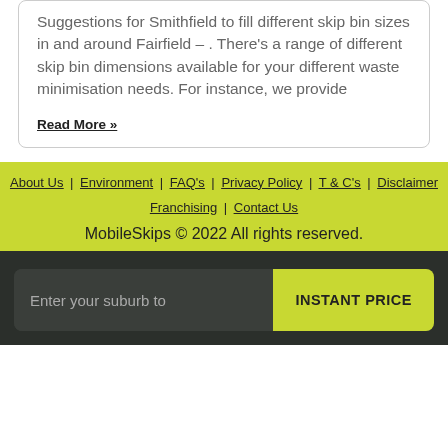Suggestions for Smithfield to fill different skip bin sizes in and around Fairfield –. There's a range of different skip bin dimensions available for your different waste minimisation needs. For instance, we provide
Read More »
About Us | Environment | FAQ's | Privacy Policy | T & C's | Disclaimer | Franchising | Contact Us
MobileSkips © 2022 All rights reserved.
Enter your suburb to   INSTANT PRICE